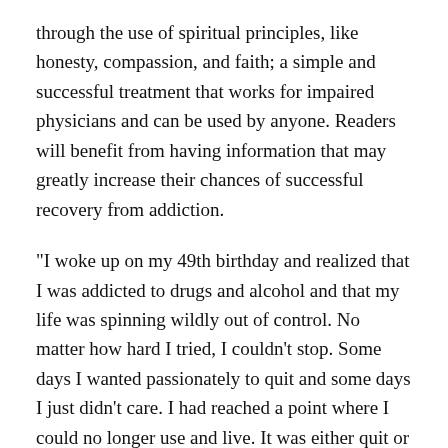through the use of spiritual principles, like honesty, compassion, and faith; a simple and successful treatment that works for impaired physicians and can be used by anyone. Readers will benefit from having information that may greatly increase their chances of successful recovery from addiction.
"I woke up on my 49th birthday and realized that I was addicted to drugs and alcohol and that my life was spinning wildly out of control. No matter how hard I tried, I couldn't stop. Some days I wanted passionately to quit and some days I just didn't care. I had reached a point where I could no longer use and live. It was either quit or die, and then something happened. I found recovery."